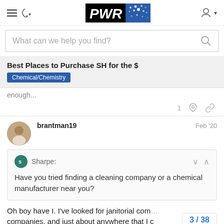PWR (logo) | hamburger menu | phone icon | user icon
What can we help you find?
Best Places to Purchase SH for the $
Chemical/Chemistry
enough...
1 (like) (link)
brantman19   Feb '20
Sharpe:
Have you tried finding a cleaning company or a chemical manufacturer near you?
Oh boy have I. I've looked for janitorial com
companies, and just about anywhere that I c
3 / 38